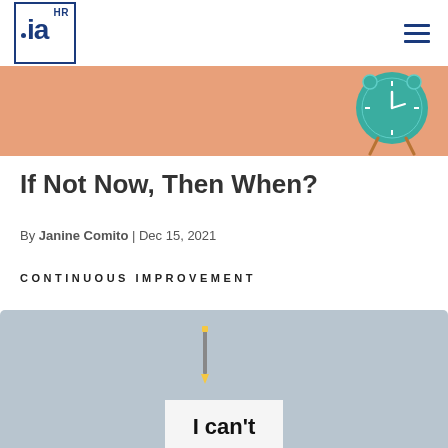ia HR [logo with hamburger menu]
[Figure (photo): Hero banner with salmon/peach background showing a teal alarm clock with copper legs on the right side]
If Not Now, Then When?
By Janine Comito | Dec 15, 2021
CONTINUOUS IMPROVEMENT
[Figure (photo): Light blue/grey background with a white card showing text 'I can't' with a pencil crossing out the 't', suggesting transformation to 'I can']